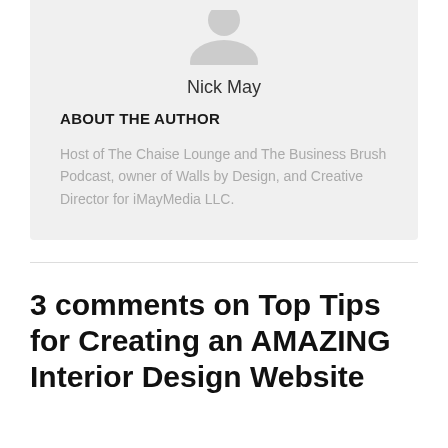[Figure (illustration): Circular avatar/profile placeholder icon showing a grey silhouette of a person (head and shoulders) on a light grey background]
Nick May
ABOUT THE AUTHOR
Host of The Chaise Lounge and The Business Brush Podcast, owner of Walls by Design, and Creative Director for iMayMedia LLC.
3 comments on Top Tips for Creating an AMAZING Interior Design Website